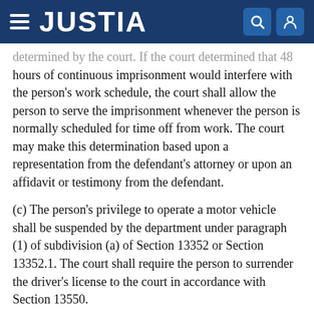JUSTIA
determined by the court. If the court determined that 48 hours of continuous imprisonment would interfere with the person's work schedule, the court shall allow the person to serve the imprisonment whenever the person is normally scheduled for time off from work. The court may make this determination based upon a representation from the defendant's attorney or upon an affidavit or testimony from the defendant.
(c) The person's privilege to operate a motor vehicle shall be suspended by the department under paragraph (1) of subdivision (a) of Section 13352 or Section 13352.1. The court shall require the person to surrender the driver's license to the court in accordance with Section 13550.
(d) Whenever, when considering the circumstances taken as a whole, the court determines that the person